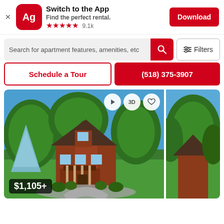[Figure (screenshot): App banner: Ag logo, Switch to the App text, Find the perfect rental, 5 stars 9.1k, Download button]
[Figure (screenshot): Search bar with text 'Search for apartment features, amenities, etc', red search button, Filters button]
[Figure (screenshot): CTA row: Schedule a Tour button, (518) 375-3907 phone button]
[Figure (photo): Rental property exterior photo: brick two-story house with green trees, lawn, circular driveway, blue sky. Price overlay $1,105+. Action buttons: play, 3D, heart. Thumbnail second photo on right.]